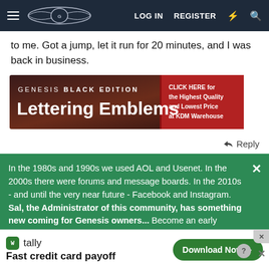LOG IN  REGISTER
to me. Got a jump, let it run for 20 minutes, and I was back in business.
[Figure (infographic): GENESIS BLACK EDITION Lettering Emblems advertisement banner with text: CLICK HERE for the Highest Quality and Lowest Price at KDM Warehouse]
Reply
In the 1980s and 1990s we used AOL and Usenet. In the 2000s there were forums and message boards. In the 2010s - and until the very near future - Facebook and Instagram. Sal, the Administrator of this community, has something new coming for Genesis owners... Become an early adopter of what's next by SIGNING UP HERE. Your email address will
[Figure (infographic): Tally app advertisement: Fast credit card payoff with Download Now button]